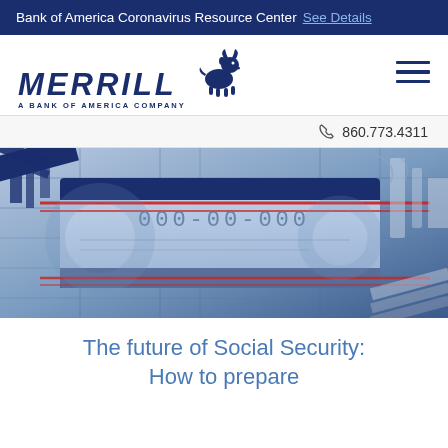Bank of America Coronavirus Resource Center  See Details
[Figure (logo): Merrill Lynch bull logo with text MERRILL A BANK OF AMERICA COMPANY]
860.773.4311
[Figure (illustration): Abstract graphic depicting a stylized Social Security card with number 000-00-000, blue and red diagonal lines on a circuit-board-like background]
The future of Social Security: How to prepare